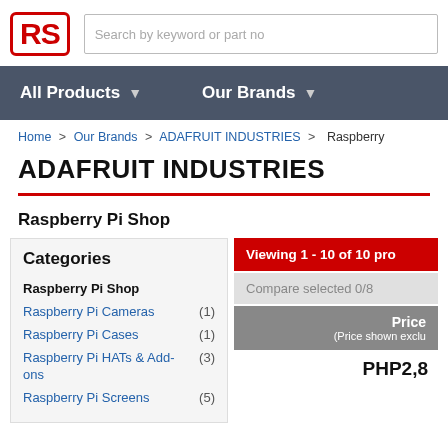[Figure (logo): RS Components red logo with RS initials in red box]
Search by keyword or part no
All Products ▾  Our Brands ▾
Home > Our Brands > ADAFRUIT INDUSTRIES > Raspberry
ADAFRUIT INDUSTRIES
Raspberry Pi Shop
| Categories | Count |
| --- | --- |
| Raspberry Pi Shop |  |
| Raspberry Pi Cameras | (1) |
| Raspberry Pi Cases | (1) |
| Raspberry Pi HATs & Add-ons | (3) |
| Raspberry Pi Screens | (5) |
Viewing 1 - 10 of 10 pro
Compare selected 0/8
Price
(Price shown exclu
PHP2,8